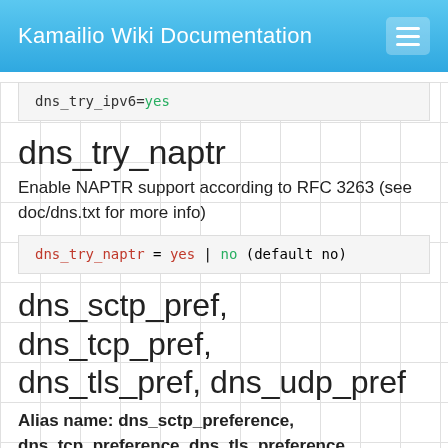Kamailio Wiki Documentation
dns_try_ipv6=yes
dns_try_naptr
Enable NAPTR support according to RFC 3263 (see doc/dns.txt for more info)
dns_try_naptr = yes | no (default no)
dns_sctp_pref, dns_tcp_pref, dns_tls_pref, dns_udp_pref
Alias name: dns_sctp_preference, dns_tcp_preference, dns_tls_preference, dns_udp_preference
Set preference for each protocol when doing naptr